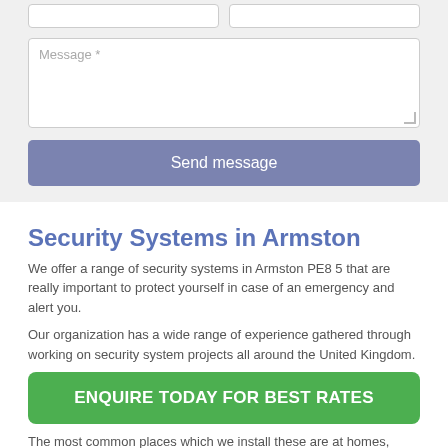[Figure (screenshot): Web form with two input fields side by side at top, a message textarea with placeholder 'Message *', and a 'Send message' button styled in slate blue]
Security Systems in Armston
We offer a range of security systems in Armston PE8 5 that are really important to protect yourself in case of an emergency and alert you.
Our organization has a wide range of experience gathered through working on security system projects all around the United Kingdom.
ENQUIRE TODAY FOR BEST RATES
The most common places which we install these are at homes, schools and workplaces.